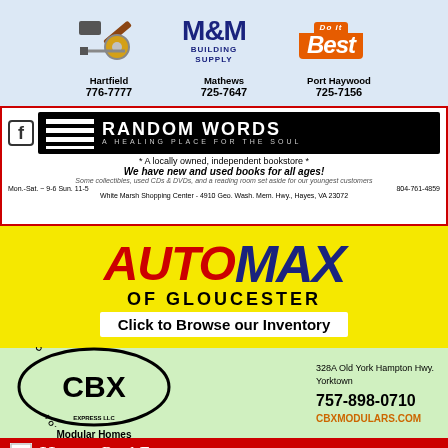[Figure (advertisement): M&M Building Supply advertisement with Do it Best logo. Locations: Hartfield 776-7777, Mathews 725-7647, Port Haywood 725-7156]
[Figure (advertisement): Random Words bookstore ad. A locally owned, independent bookstore. We have new and used books for all ages! Mon.-Sat. ~ 9-6 Sun. 11-5, 804-761-4859, White Marsh Shopping Center - 4910 Geo. Wash. Mem. Hwy., Hayes, VA 23072]
[Figure (advertisement): Auto Max of Gloucester. Click to Browse our Inventory.]
[Figure (advertisement): CBX Custom Builders, Yorktown VA Express LLC, Modular Homes. 328A Old York Hampton Hwy, Yorktown. 757-898-0710. CBXMODULARS.COM]
[Figure (advertisement): Hogge Real Estate advertisement on red background]